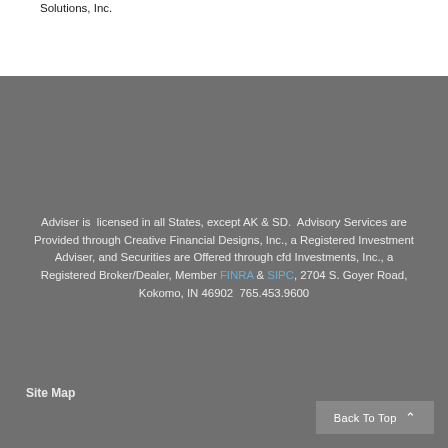Solutions, Inc.
Adviser is licensed in all States, except AK & SD. Advisory Services are Provided through Creative Financial Designs, Inc., a Registered Investment Adviser, and Securities are Offered through cfd Investments, Inc., a Registered Broker/Dealer, Member FINRA & SIPC, 2704 S. Goyer Road, Kokomo, IN 46902 765.453.9600
Site Map
Back To Top